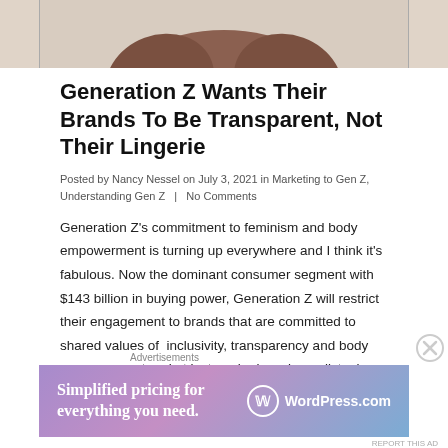[Figure (photo): Cropped photo of a person, showing arms/shoulders from below chin level against a light background]
Generation Z Wants Their Brands To Be Transparent, Not Their Lingerie
Posted by Nancy Nessel on July 3, 2021 in Marketing to Gen Z, Understanding Gen Z   |   No Comments
Generation Z's commitment to feminism and body empowerment is turning up everywhere and I think it's fabulous. Now the dominant consumer segment with $143 billion in buying power, Generation Z will restrict their engagement to brands that are committed to shared values of  inclusivity, transparency and body empowerment and at last, major brands are listening.
[Figure (screenshot): WordPress.com advertisement banner: 'Simplified pricing for everything you need.' with WordPress logo]